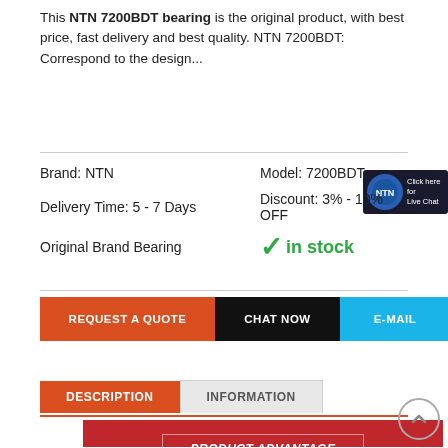This NTN 7200BDT bearing is the original product, with best price, fast delivery and best quality. NTN 7200BDT: Correspond to the design...
Brand: NTN    Model: 7200BDT
Delivery Time: 5 - 7 Days    Discount: 3% - 10% OFF
Original Brand Bearing    ✓ in stock
[Figure (other): Live chat button badge with NTN logo and 'Click here for Live Chat' text]
REQUEST A QUOTE
CHAT NOW
E-MAIL
DESCRIPTION | INFORMATION tabs
[Figure (other): Product Advantage banner with red background and brand logos (SKF, and others)]